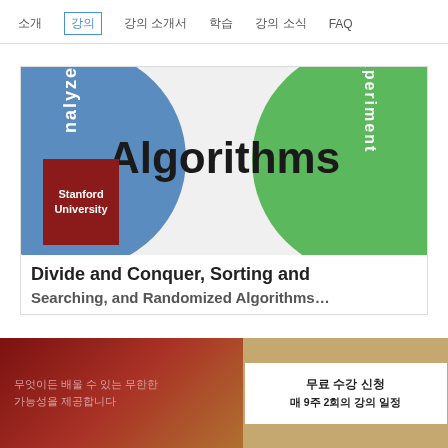소개  강의  강의 소개서  학습  강의 소식  FAQ
[Figure (illustration): Course banner showing 'Algorithms' in large text with blue and green circular elements labeled 'analyze' and 'xperiment', and a Stanford University logo box]
Divide and Conquer, Sorting and Searching, and Randomized Algorithms
무엇이든 배울 수 있는 무한한 가능성
무료 수강 신청  매 9주 2회의 강의 일정